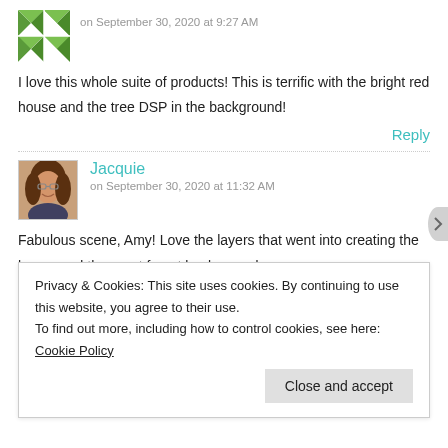on September 30, 2020 at 9:27 AM
I love this whole suite of products! This is terrific with the bright red house and the tree DSP in the background!
Reply
Jacquie
on September 30, 2020 at 11:32 AM
Fabulous scene, Amy! Love the layers that went into creating the house and the great forest background.
Privacy & Cookies: This site uses cookies. By continuing to use this website, you agree to their use.
To find out more, including how to control cookies, see here: Cookie Policy
Close and accept